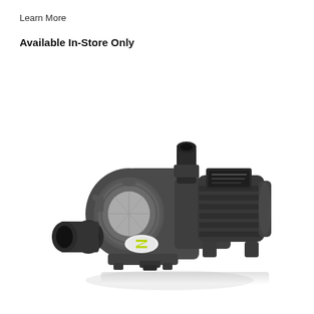Learn More
Available In-Store Only
[Figure (photo): Dark grey pool pump with transparent strainer basket lid, black inlet/outlet pipes, electric motor with cooling fins on the right side, and a brand logo badge on the front. The pump sits on a white background with a subtle reflection below.]